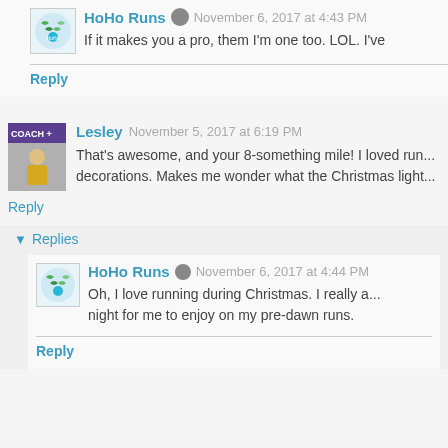HoHo Runs — November 6, 2017 at 4:43 PM
If it makes you a pro, them I'm one too. LOL. I've
Reply
Lesley — November 5, 2017 at 6:19 PM
That's awesome, and your 8-something mile! I loved run... decorations. Makes me wonder what the Christmas light...
Reply
Replies
HoHo Runs — November 6, 2017 at 4:44 PM
Oh, I love running during Christmas. I really a... night for me to enjoy on my pre-dawn runs.
Reply